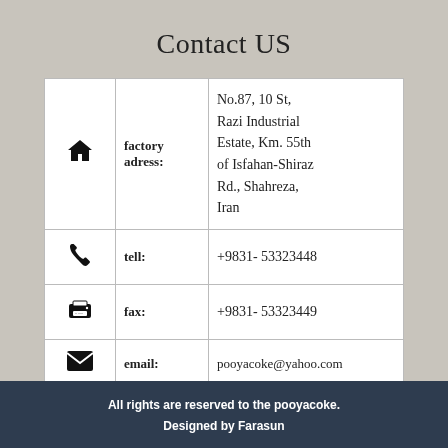Contact US
| icon | label | value |
| --- | --- | --- |
| [house icon] | factory adress: | No.87, 10 St, Razi Industrial Estate, Km. 55th of Isfahan-Shiraz Rd., Shahreza, Iran |
| [phone icon] | tell: | +9831- 53323448 |
| [fax/printer icon] | fax: | +9831- 53323449 |
| [email icon] | email: | pooyacoke@yahoo.com |
All rights are reserved to the pooyacoke.
Designed by Farasun